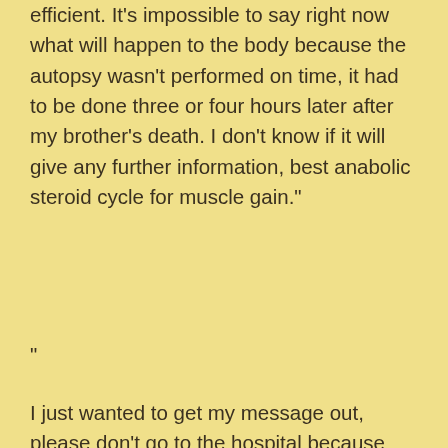autopsy, as the procedure wasn't very efficient. It's impossible to say right now what will happen to the body because the autopsy wasn't performed on time, it had to be done three or four hours later after my brother's death. I don't know if it will give any further information, best anabolic steroid cycle for muscle gain."
"
I just wanted to get my message out, please don't go to the hospital because they will make you a patient of the hospital and if that happens you will be waiting for days in a very dark place, only to be told why you were made a patient. It's a bit sad when you see people that are not your brother because you are not going to your funeral, best creatine for crossfit. You can't help a brother when he dies in a hospital when you are sitting in the waiting room, peptides australia review. If